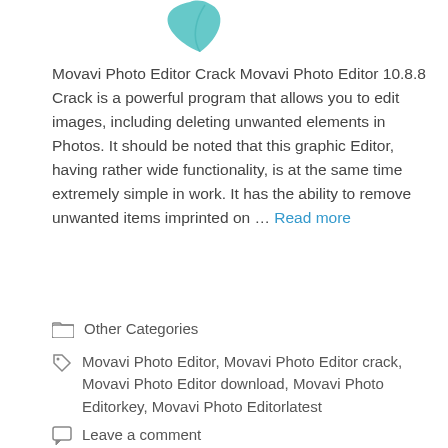[Figure (logo): Teal/green partial leaf or feather logo mark at top center]
Movavi Photo Editor Crack Movavi Photo Editor 10.8.8 Crack is a powerful program that allows you to edit images, including deleting unwanted elements in Photos. It should be noted that this graphic Editor, having rather wide functionality, is at the same time extremely simple in work. It has the ability to remove unwanted items imprinted on … Read more
Other Categories
Movavi Photo Editor, Movavi Photo Editor crack, Movavi Photo Editor download, Movavi Photo Editorkey, Movavi Photo Editorlatest
Leave a comment